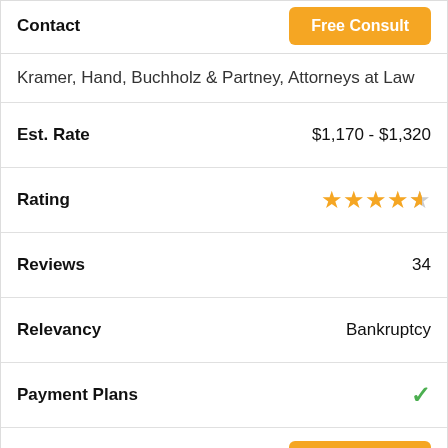| Field | Value |
| --- | --- |
| Contact | Free Consult |
| Kramer, Hand, Buchholz & Partney, Attorneys at Law |  |
| Est. Rate | $1,170 - $1,320 |
| Rating | 4.5 stars |
| Reviews | 34 |
| Relevancy | Bankruptcy |
| Payment Plans | ✓ |
| Contact | Free Consult |
| Adams Law Group |  |
| Est. Rate | $1,075 - $1,225 |